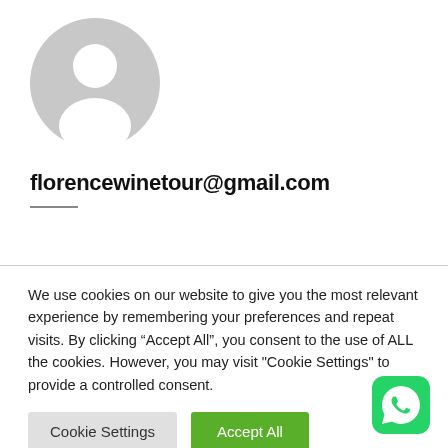[Figure (illustration): Default grey user avatar/profile placeholder icon — circle with silhouette of head and shoulders]
florencewinetour@gmail.com
We use cookies on our website to give you the most relevant experience by remembering your preferences and repeat visits. By clicking “Accept All”, you consent to the use of ALL the cookies. However, you may visit "Cookie Settings" to provide a controlled consent.